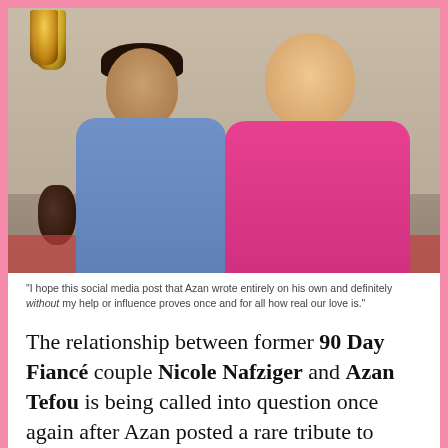[Figure (photo): Photo of a man in a blue shirt and a woman in a pink top sitting together, appearing to be from the TV show 90 Day Fiancé. The man has dark hair and medium skin tone; the woman is blonde and larger-set. They are seated in a room with Moroccan-style decor including a lantern lamp.]
"I hope this social media post that Azan wrote entirely on his own and definitely without my help or influence proves once and for all how real our love is."
The relationship between former 90 Day Fiancé couple Nicole Nafziger and Azan Tefou is being called into question once again after Azan posted a rare tribute to